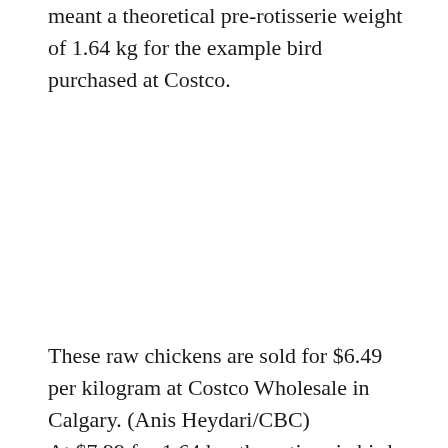meant a theoretical pre-rotisserie weight of 1.64 kg for the example bird purchased at Costco.
These raw chickens are sold for $6.49 per kilogram at Costco Wholesale in Calgary. (Anis Heydari/CBC) At $7.99 for 1.64 kg, the rotisserie bird would be